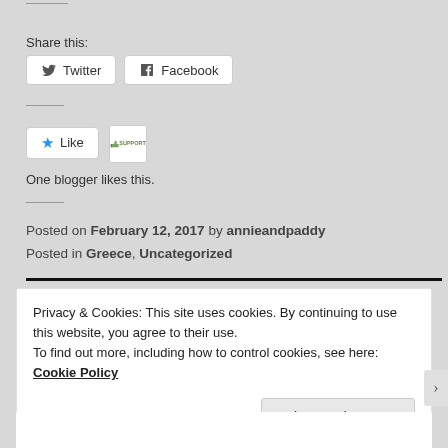Share this:
Twitter  Facebook
[Figure (other): Like button with blue star and SUPPORT button beside it]
One blogger likes this.
Posted on February 12, 2017 by annieandpaddy
Posted in Greece, Uncategorized
Privacy & Cookies: This site uses cookies. By continuing to use this website, you agree to their use.
To find out more, including how to control cookies, see here: Cookie Policy
Close and accept